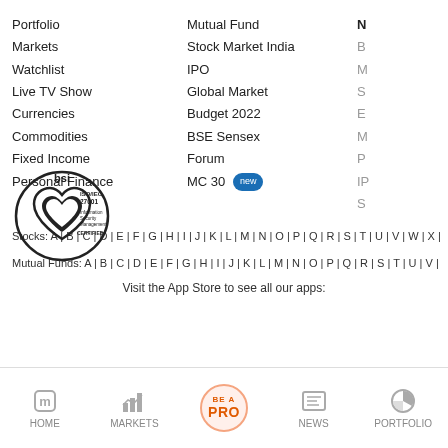Portfolio
Markets
Watchlist
Live TV Show
Currencies
Commodities
Fixed Income
Personal Finance
Mutual Fund
Stock Market India
IPO
Global Market
Budget 2022
BSE Sensex
Forum
MC 30 new
Stocks: A | B | C | D | E | F | G | H | I | J | K | L | M | N | O | P | Q | R | S | T | U | V | W | X |
Mutual Funds: A | B | C | D | E | F | G | H | I | J | K | L | M | N | O | P | Q | R | S | T | U | V |
Visit the App Store to see all our apps:
[Figure (logo): BSI ISO/IEC 27001 Information Security Management CERTIFIED logo]
HOME | MARKETS | BE A PRO | NEWS | PORTFOLIO